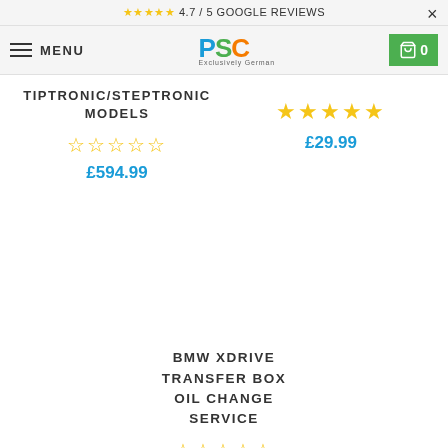★★★★★ 4.7 / 5 GOOGLE REVIEWS
MENU
[Figure (logo): PSC Exclusively German logo]
TIPTRONIC/STEPTRONIC MODELS
☆☆☆☆☆ (empty stars rating)
£594.99
★★★★★ (5 stars rating)
£29.99
BMW XDRIVE TRANSFER BOX OIL CHANGE SERVICE
☆☆☆☆☆ (empty stars rating)